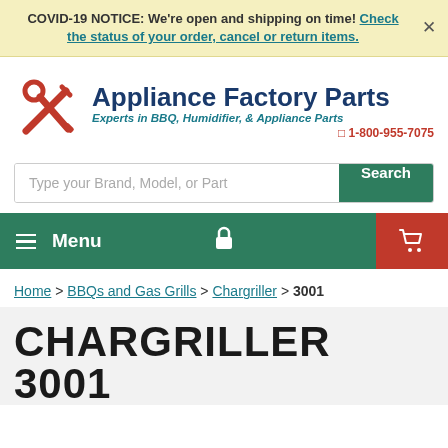COVID-19 NOTICE: We're open and shipping on time! Check the status of your order, cancel or return items.
[Figure (logo): Appliance Factory Parts logo with wrench and screwdriver icon, tagline 'Experts in BBQ, Humidifier, & Appliance Parts', phone 1-800-955-7075]
Type your Brand, Model, or Part
Menu
Home > BBQs and Gas Grills > Chargriller > 3001
CHARGRILLER 3001